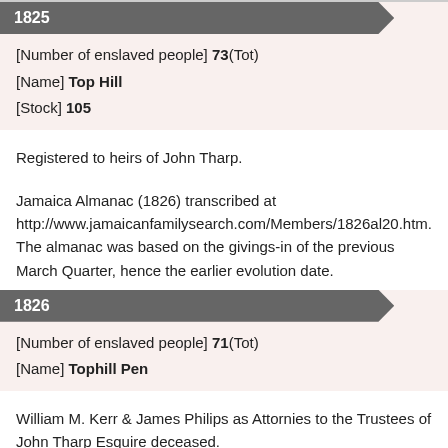1825
[Number of enslaved people] 73(Tot)
[Name] Top Hill
[Stock] 105
Registered to heirs of John Tharp.
Jamaica Almanac (1826) transcribed at http://www.jamaicanfamilysearch.com/Members/1826al20.htm. The almanac was based on the givings-in of the previous March Quarter, hence the earlier evolution date.
1826
[Number of enslaved people] 71(Tot)
[Name] Tophill Pen
William M. Kerr & James Philips as Attornies to the Trustees of John Tharp Esquire deceased.